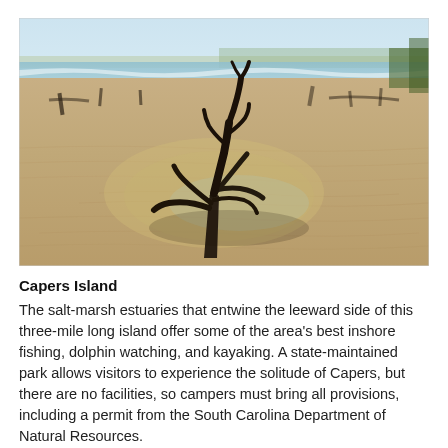[Figure (photo): A beach scene at Capers Island showing a large piece of driftwood with exposed roots rising from a shallow sandy pool at low tide, with the ocean waves and more driftwood visible in the background along a sandy shore.]
Capers Island
The salt-marsh estuaries that entwine the leeward side of this three-mile long island offer some of the area's best inshore fishing, dolphin watching, and kayaking. A state-maintained park allows visitors to experience the solitude of Capers, but there are no facilities, so campers must bring all provisions, including a permit from the South Carolina Department of Natural Resources.